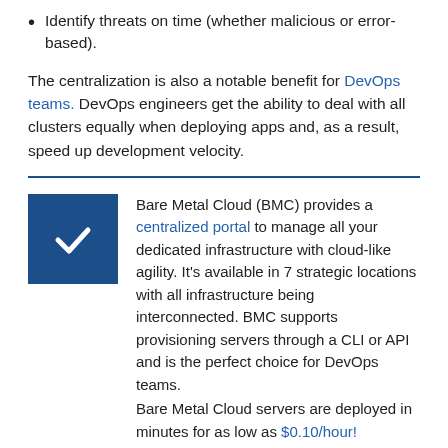Identify threats on time (whether malicious or error-based).
The centralization is also a notable benefit for DevOps teams. DevOps engineers get the ability to deal with all clusters equally when deploying apps and, as a result, speed up development velocity.
Bare Metal Cloud (BMC) provides a centralized portal to manage all your dedicated infrastructure with cloud-like agility. It's available in 7 strategic locations with all infrastructure being interconnected. BMC supports provisioning servers through a CLI or API and is the perfect choice for DevOps teams.
Bare Metal Cloud servers are deployed in minutes for as low as $0.10/hour!